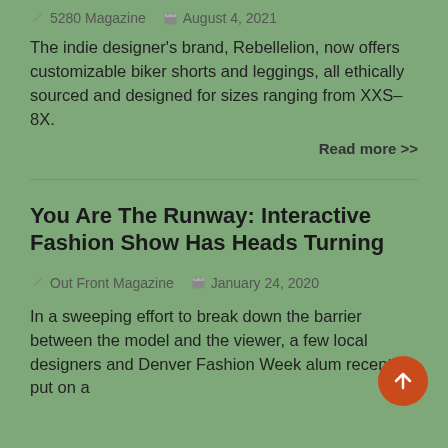🖊 5280 Magazine   🗓 August 4, 2021
The indie designer's brand, Rebellelion, now offers customizable biker shorts and leggings, all ethically sourced and designed for sizes ranging from XXS–8X.
Read more >>
You Are The Runway: Interactive Fashion Show Has Heads Turning
🖊 Out Front Magazine   🗓 January 24, 2020
In a sweeping effort to break down the barrier between the model and the viewer, a few local designers and Denver Fashion Week alum recently put on a